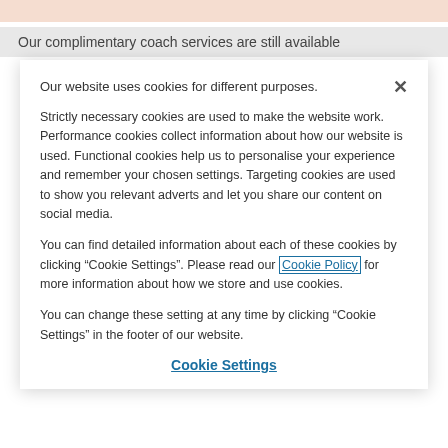Our complimentary coach services are still available
Our website uses cookies for different purposes.
Strictly necessary cookies are used to make the website work. Performance cookies collect information about how our website is used. Functional cookies help us to personalise your experience and remember your chosen settings. Targeting cookies are used to show you relevant adverts and let you share our content on social media.
You can find detailed information about each of these cookies by clicking “Cookie Settings”. Please read our Cookie Policy for more information about how we store and use cookies.
You can change these setting at any time by clicking “Cookie Settings” in the footer of our website.
Cookie Settings